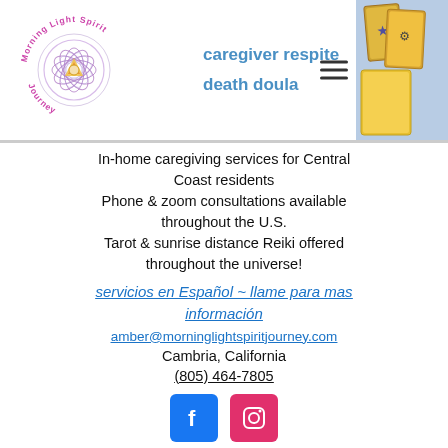[Figure (logo): Morning Light Spirit Journey circular logo with mandala/flower design in purple and gold, text around the circle]
caregiver respite
death doula
In-home caregiving services for Central Coast residents
Phone & zoom consultations available throughout the U.S.
Tarot & sunrise distance Reiki offered throughout the universe!
servicios en Español ~ llame para mas información
amber@morninglightspiritjourney.com
Cambria, California
(805) 464-7805
[Figure (logo): Facebook and Instagram social media icons]
©2021 by Morning Light Spirit Journey